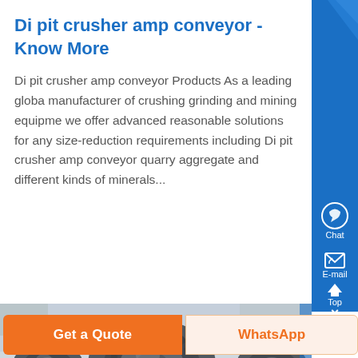Di pit crusher amp conveyor - Know More
Di pit crusher amp conveyor Products As a leading global manufacturer of crushing grinding and mining equipment we offer advanced reasonable solutions for any size-reduction requirements including Di pit crusher amp conveyor quarry aggregate and different kinds of minerals...
[Figure (photo): Close-up photograph of industrial crushing equipment, showing metal crusher/conveyor machinery components with gears and rollers]
Get a Quote
WhatsApp